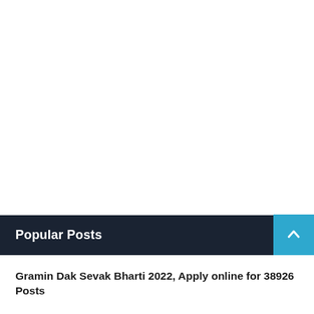Popular Posts
Gramin Dak Sevak Bharti 2022, Apply online for 38926 Posts